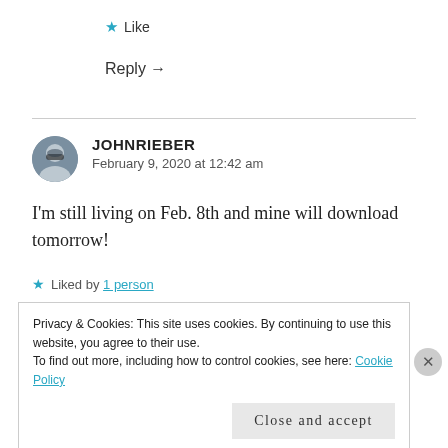★ Like
Reply →
JOHNRIEBER
February 9, 2020 at 12:42 am
I'm still living on Feb. 8th and mine will download tomorrow!
★ Liked by 1person
Privacy & Cookies: This site uses cookies. By continuing to use this website, you agree to their use.
To find out more, including how to control cookies, see here: Cookie Policy
Close and accept